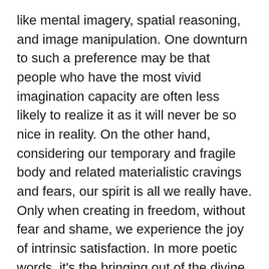like mental imagery, spatial reasoning, and image manipulation. One downturn to such a preference may be that people who have the most vivid imagination capacity are often less likely to realize it as it will never be so nice in reality. On the other hand, considering our temporary and fragile body and related materialistic cravings and fears, our spirit is all we really have. Only when creating in freedom, without fear and shame, we experience the joy of intrinsic satisfaction. In more poetic words, it's the bringing out of the divine of our highest purpose.
Imagination can be learned
Paradoxically, humans try to change what has evolved over long periods of time and isn't that easy (let alone healthy) to change: our body. Yet, they still don't see that they could change their mind instantly. Eventually, there is hope that everybody can learn imagination and achieve more meaning in their lives, for example, by expanding the connection to serve